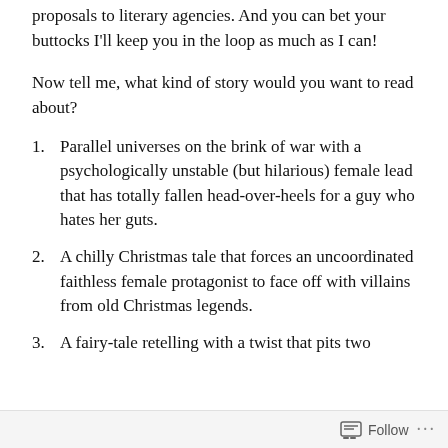proposals to literary agencies. And you can bet your buttocks I'll keep you in the loop as much as I can!
Now tell me, what kind of story would you want to read about?
Parallel universes on the brink of war with a psychologically unstable (but hilarious) female lead that has totally fallen head-over-heels for a guy who hates her guts.
A chilly Christmas tale that forces an uncoordinated faithless female protagonist to face off with villains from old Christmas legends.
A fairy-tale retelling with a twist that pits two
Follow